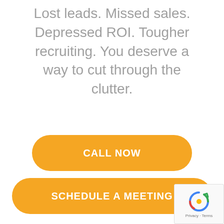Lost leads. Missed sales. Depressed ROI. Tougher recruiting. You deserve a way to cut through the clutter.
CALL NOW
SCHEDULE A MEETING